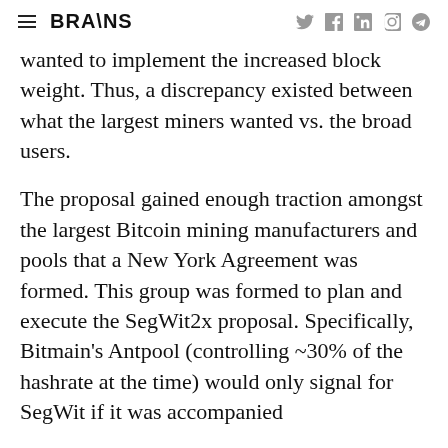BRAIINS
wanted to implement the increased block weight. Thus, a discrepancy existed between what the largest miners wanted vs. the broad users.
The proposal gained enough traction amongst the largest Bitcoin mining manufacturers and pools that a New York Agreement was formed. This group was formed to plan and execute the SegWit2x proposal. Specifically, Bitmain's Antpool (controlling ~30% of the hashrate at the time) would only signal for SegWit if it was accompanied